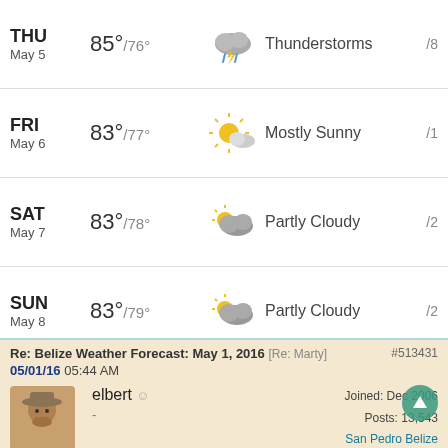| Day | Temp Hi/Lo | Icon | Condition | Extra |
| --- | --- | --- | --- | --- |
| THU May 5 | 85°/76° | Thunderstorms icon | Thunderstorms | /8 |
| FRI May 6 | 83°/77° | Mostly Sunny icon | Mostly Sunny | /1 |
| SAT May 7 | 83°/78° | Partly Cloudy icon | Partly Cloudy | /2 |
| SUN May 8 | 83°/79° | Partly Cloudy icon | Partly Cloudy | /2 |
| MON May 9 | 84°/80° | Mostly Sunny icon | Mostly Sunny | /2 |
| TUE May 10 | 85°/81° | Partly Cloudy icon | Partly Cloudy | /1 |
Re: Belize Weather Forecast: May 1, 2016 [Re: Marty] #513431
05/01/16 05:44 AM
elbert
Joined: Dec 2006
Posts: 13,543
San Pedro Belize